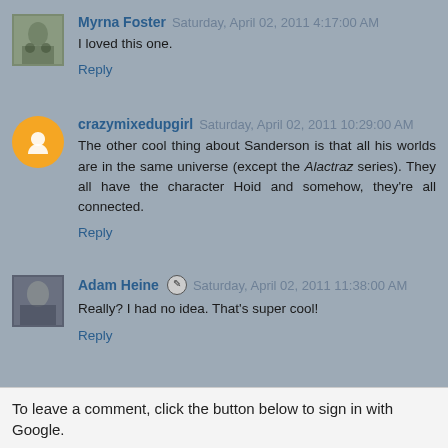Myrna Foster  Saturday, April 02, 2011 4:17:00 AM
I loved this one.
Reply
crazymixedupgirl  Saturday, April 02, 2011 10:29:00 AM
The other cool thing about Sanderson is that all his worlds are in the same universe (except the Alactraz series). They all have the character Hoid and somehow, they're all connected.
Reply
Adam Heine  Saturday, April 02, 2011 11:38:00 AM
Really? I had no idea. That's super cool!
Reply
To leave a comment, click the button below to sign in with Google.